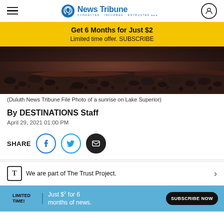Duluth News Tribune
Get 6 Months for Just $2
Limited time offer. SUBSCRIBE
[Figure (photo): Dark rocks and pebbles along the shore of Lake Superior at sunrise, with reddish-brown rock surfaces and dark stones visible]
(Duluth News Tribune File Photo of a sunrise on Lake Superior)
By DESTINATIONS Staff
April 29, 2021 01:00 PM
SHARE
We are part of The Trust Project.
LIMITED TIME! Just $2 for 6 months of news. SUBSCRIBE NOW